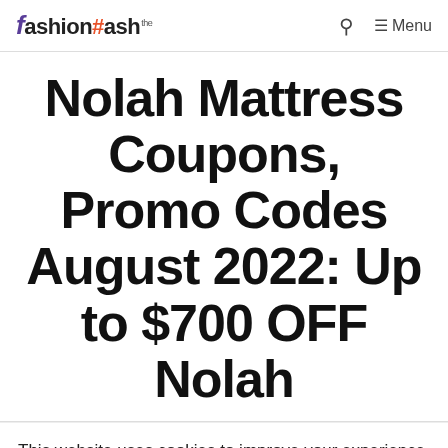Fashion Hash — Menu
Nolah Mattress Coupons, Promo Codes August 2022: Up to $700 OFF Nolah
This website uses cookies to improve your experience. We'll assume you're ok with this, but you can opt-out if you wish. Cookie settings ACCEPT